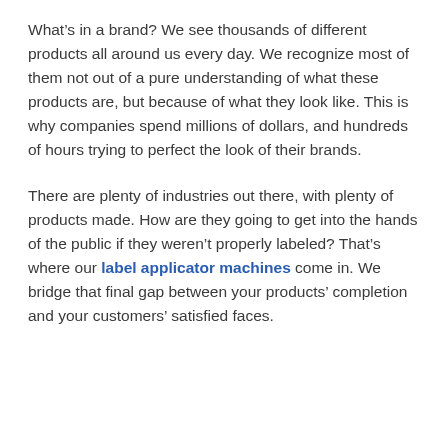What's in a brand? We see thousands of different products all around us every day. We recognize most of them not out of a pure understanding of what these products are, but because of what they look like. This is why companies spend millions of dollars, and hundreds of hours trying to perfect the look of their brands.
There are plenty of industries out there, with plenty of products made. How are they going to get into the hands of the public if they weren't properly labeled? That's where our label applicator machines come in. We bridge that final gap between your products' completion and your customers' satisfied faces.